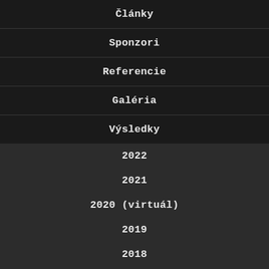Články
Sponzori
Referencie
Galéria
Výsledky
2022
2021
2020 (virtuál)
2019
2018
2017